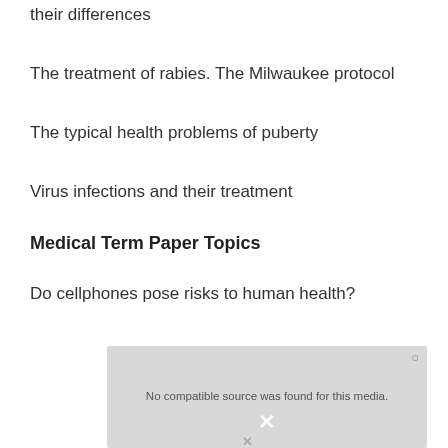their differences
The treatment of rabies. The Milwaukee protocol
The typical health problems of puberty
Virus infections and their treatment
Medical Term Paper Topics
Do cellphones pose risks to human health?
[Figure (other): Video player overlay showing 'No compatible source was found for this media.' with a close button and X icon]